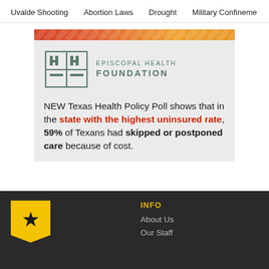Uvalde Shooting  Abortion Laws  Drought  Military Confinement
[Figure (infographic): Episcopal Health Foundation infographic with logo and text about Texas Health Policy Poll showing 59% of Texans had skipped or postponed care because of cost in the state with the highest uninsured rate.]
INFO  About Us  Our Staff